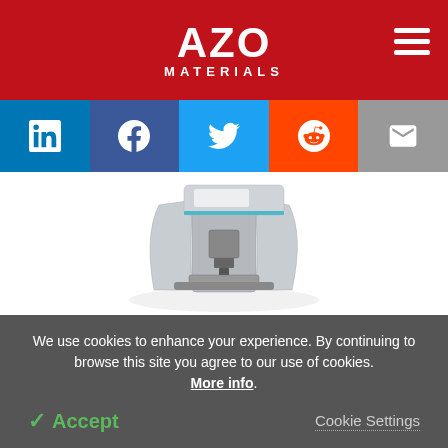AZO MATERIALS
[Figure (logo): AZO Materials logo with red background and hamburger menu icon]
[Figure (infographic): Social media share buttons: LinkedIn, Facebook, Twitter, Reddit, Email]
[Figure (photo): XploRA PLUS Raman Microscope product photo on white background]
XploRA™PLUS: Multi-Sample, Multi-User Raman Microscope
We use cookies to enhance your experience. By continuing to browse this site you agree to our use of cookies. More info.
✓ Accept   Cookie Settings